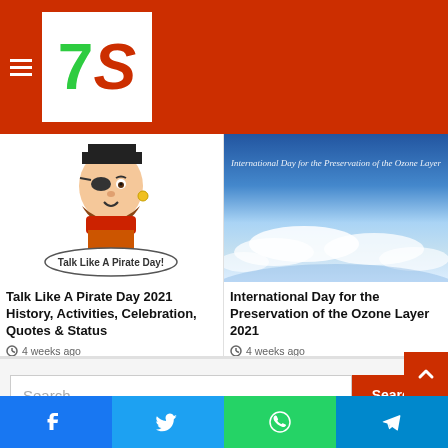7S logo and navigation header
[Figure (illustration): Talk Like A Pirate Day pirate character mascot with text 'Talk Like A Pirate Day!']
Talk Like A Pirate Day 2021 History, Activities, Celebration, Quotes & Status
4 weeks ago
[Figure (photo): International Day for the Preservation of the Ozone Layer - aerial/satellite view of Earth atmosphere with text overlay]
International Day for the Preservation of the Ozone Layer 2021
4 weeks ago
Search ...
Social share bar with Facebook, Twitter, WhatsApp, Telegram icons